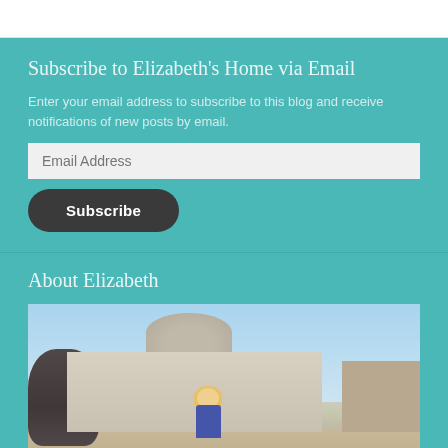Subscribe to Elizabeth's Home via Email
Enter your email address to subscribe to this blog and receive notifications of new posts by email.
About Elizabeth
[Figure (photo): A blonde woman standing in front of St. Peter's Basilica in Vatican City, with a large baroque fountain visible on the left side of the image.]